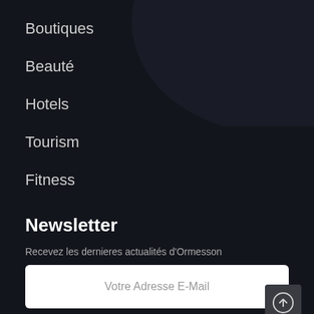Boutiques
Beauté
Hotels
Tourism
Fitness
Newsletter
Recevez les dernieres actualités d'Ormesson
Votre Adresse E-Mail
S'INSCRIRE